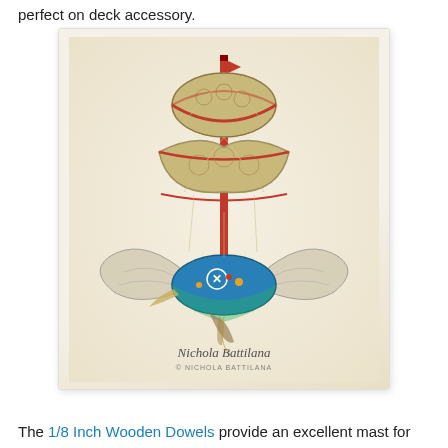perfect on deck accessory.
[Figure (photo): A decorative handmade flying ship craft with patterned fabric sails, a red mast, dragonfly wings, and a bird hull decorated with gears and jewels, signed by Nichola Battilana]
The 1/8 Inch Wooden Dowels provide an excellent mast for